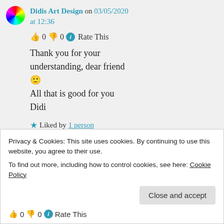Didis Art Design on 03/05/2020 at 12:36
👍 0 👎 0 ℹ️ Rate This
Thank you for your understanding, dear friend 🙂
All that is good for you
Didi
★ Liked by 1 person
Privacy & Cookies: This site uses cookies. By continuing to use this website, you agree to their use.
To find out more, including how to control cookies, see here: Cookie Policy
Close and accept
👍 0 👎 0 🔵 Rate This